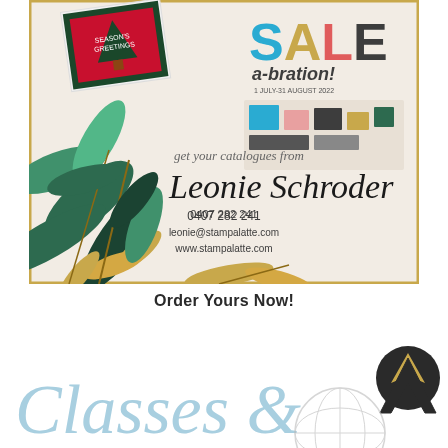[Figure (illustration): Promotional image showing Stampin' Up Sale-a-bration catalog advertisement with holiday cards, greenery/leaf decorations, gold accents, and contact details for Leonie Schroder. The image includes the 'SALE a-bration!' text in colorful letters, handwritten script text 'get your catalogues from', the name Leonie Schroder in large script, phone number 0407 282 241, email leonie@stampalatte.com, and website www.stampalatte.com. Gold border frame around image.]
Order Yours Now!
[Figure (illustration): Partial image showing cursive/script text 'Classes &' in light blue color at the bottom, with a dark arrow/compass logo on the right side]